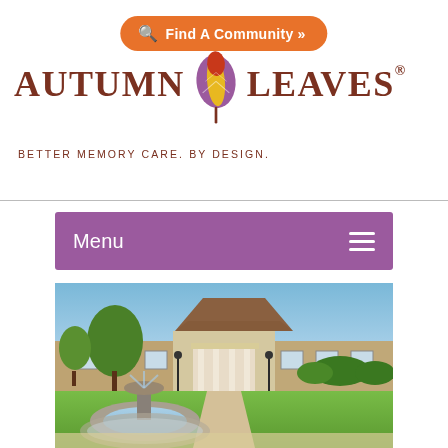[Figure (logo): Autumn Leaves logo with stylized leaf icon in purple, gold and red colors, with text AUTUMN LEAVES and registered trademark symbol]
BETTER MEMORY CARE. BY DESIGN.
[Figure (screenshot): Orange rounded button with magnifier icon reading 'Find A Community »']
Menu
[Figure (photo): Exterior photo of memory care community building with fountain in foreground, portico entrance, lawn and trees]